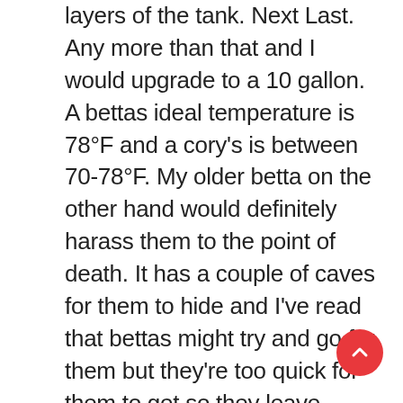layers of the tank. Next Last. Any more than that and I would upgrade to a 10 gallon. A bettas ideal temperature is 78°F and a cory's is between 70-78°F. My older betta on the other hand would definitely harass them to the point of death. It has a couple of caves for them to hide and I've read that bettas might try and go for them but they're too quick for them to get so they leave them alone and there's typically no problem. OP . I have a small pygmy gourami that always rubs against things and has been f... My fish are dying because of a dead pygmy cory. Betta With Pygmy Corys. Anders247 What do you say about this? If you want tankmates, get some shrimp. Pygmy Corydoras With Betta. Once again you're going to be at one end of the